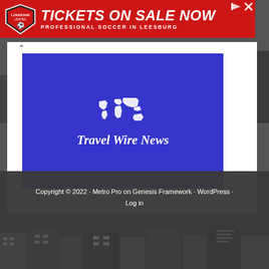[Figure (illustration): Red banner advertisement: Loudoun soccer club logo on left, large white italic text 'TICKETS ON SALE NOW' and subtitle 'PROFESSIONAL SOCCER IN LEESBURG' on red background. Small share/close icons top right.]
[Figure (logo): Travel Wire News logo: white world map icon above bold italic white text 'Travel Wire News' on dark blue/purple background.]
Copyright © 2022 · Metro Pro on Genesis Framework · WordPress · Log in
[Figure (photo): Black and white aerial cityscape background photo of an urban skyline, visible above and below the white card area and in the bottom strip.]